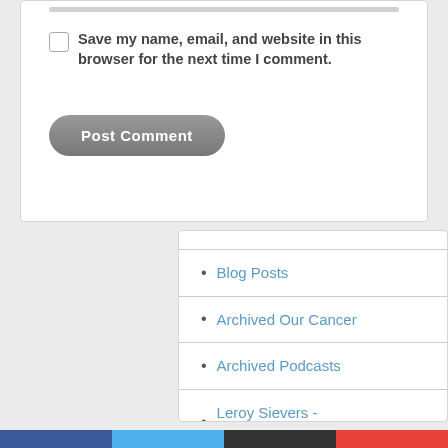Save my name, email, and website in this browser for the next time I comment.
Post Comment
Blog Posts
Archived Our Cancer
Archived Podcasts
Leroy Sievers - My Cancer 1955-2008